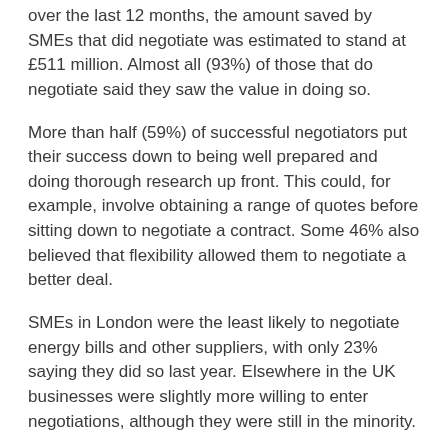over the last 12 months, the amount saved by SMEs that did negotiate was estimated to stand at £511 million. Almost all (93%) of those that do negotiate said they saw the value in doing so.
More than half (59%) of successful negotiators put their success down to being well prepared and doing thorough research up front. This could, for example, involve obtaining a range of quotes before sitting down to negotiate a contract. Some 46% also believed that flexibility allowed them to negotiate a better deal.
SMEs in London were the least likely to negotiate energy bills and other suppliers, with only 23% saying they did so last year. Elsewhere in the UK businesses were slightly more willing to enter negotiations, although they were still in the minority.
Less than a third (29%) of SMEs in Yorkshire negotiated last year while 30% of those in the North West said the same.